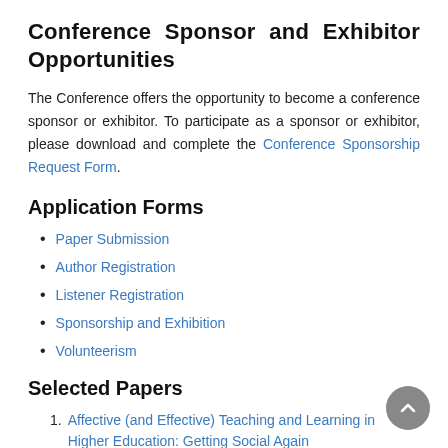Conference Sponsor and Exhibitor Opportunities
The Conference offers the opportunity to become a conference sponsor or exhibitor. To participate as a sponsor or exhibitor, please download and complete the Conference Sponsorship Request Form.
Application Forms
Paper Submission
Author Registration
Listener Registration
Sponsorship and Exhibition
Volunteerism
Selected Papers
Affective (and Effective) Teaching and Learning in Higher Education: Getting Social Again